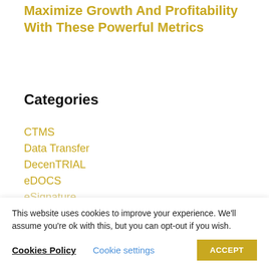Maximize Growth And Profitability With These Powerful Metrics
Categories
CTMS
Data Transfer
DecenTRIAL
eDOCS
eSignature
This website uses cookies to improve your experience. We'll assume you're ok with this, but you can opt-out if you wish.
Cookies Policy | Cookie settings | ACCEPT